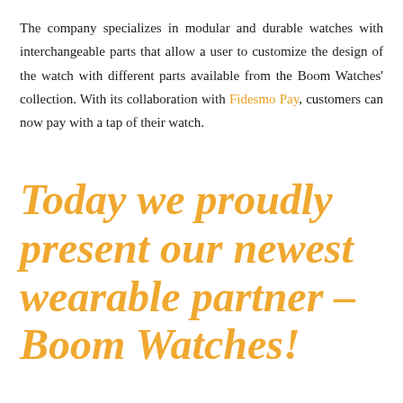The company specializes in modular and durable watches with interchangeable parts that allow a user to customize the design of the watch with different parts available from the Boom Watches' collection. With its collaboration with Fidesmo Pay, customers can now pay with a tap of their watch.
Today we proudly present our newest wearable partner – Boom Watches!